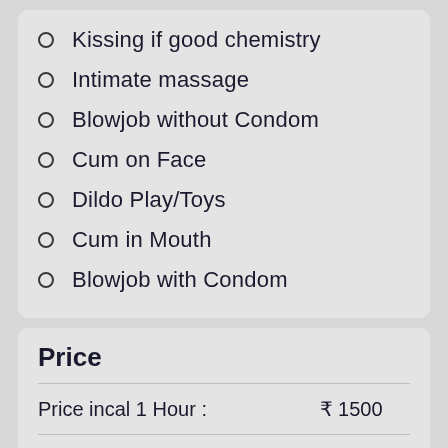Kissing if good chemistry
Intimate massage
Blowjob without Condom
Cum on Face
Dildo Play/Toys
Cum in Mouth
Blowjob with Condom
Price
|  |  |
| --- | --- |
| Price incal 1 Hour : | ₹ 1500 |
| Price incal 2 Hour : | ₹ 3000 |
| Price outcal 1 Hour : | ₹ 4500 |